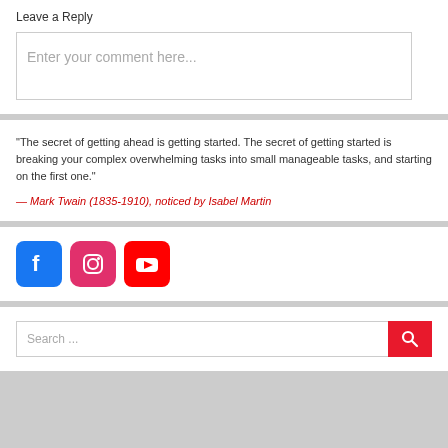Leave a Reply
Enter your comment here...
“The secret of getting ahead is getting started. The secret of getting started is breaking your complex overwhelming tasks into small manageable tasks, and starting on the first one."

— Mark Twain (1835-1910), noticed by Isabel Martin
[Figure (logo): Social media icons: Facebook (blue), Instagram (pink/red), YouTube (red)]
Search ...